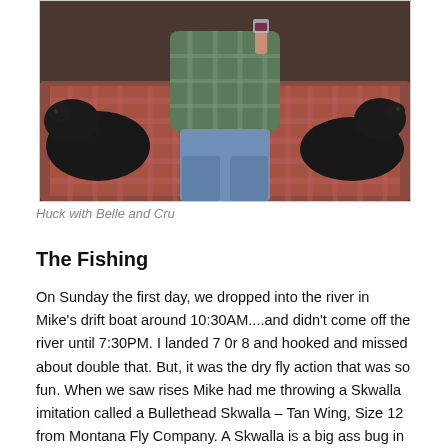[Figure (photo): A person sitting on a couch flanked by two black dogs on a plaid blanket/cushion.]
Huck with Belle and Cru
The Fishing
On Sunday the first day, we dropped into the river in Mike's drift boat around 10:30AM....and didn't come off the river until 7:30PM.  I landed 7 0r 8 and hooked and missed about double that.   But, it was the dry fly action that was so fun.  When we saw rises Mike had me throwing a Skwalla imitation called a Bullethead Skwalla – Tan Wing, Size  12 from Montana Fly Company.  A Skwalla is a big ass bug in the wild and throwing that big a dry made it easy to see in the water.  And I was throwing my new TFO BVK 3 wt again.  I'm in love with that rod.  I